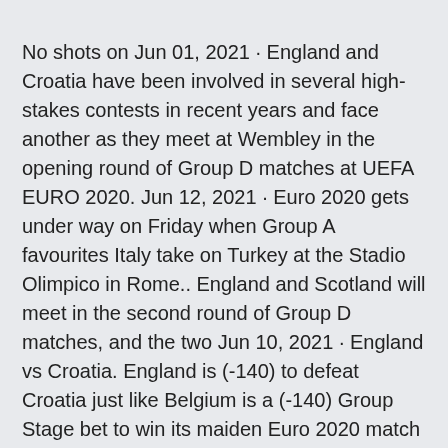No shots on Jun 01, 2021 · England and Croatia have been involved in several high-stakes contests in recent years and face another as they meet at Wembley in the opening round of Group D matches at UEFA EURO 2020. Jun 12, 2021 · Euro 2020 gets under way on Friday when Group A favourites Italy take on Turkey at the Stadio Olimpico in Rome.. England and Scotland will meet in the second round of Group D matches, and the two Jun 10, 2021 · England vs Croatia. England is (-140) to defeat Croatia just like Belgium is a (-140) Group Stage bet to win its maiden Euro 2020 match vs Russia. Even though WagerBop is touting Red Devils to beat the Russians in Group B, it appears that Three Lions could be an even-safer pick at the same price to win its opening Group D match against Croatia. · ENG vs CRO, EURO 2020 Group D Match: Fantasy Football Tips &